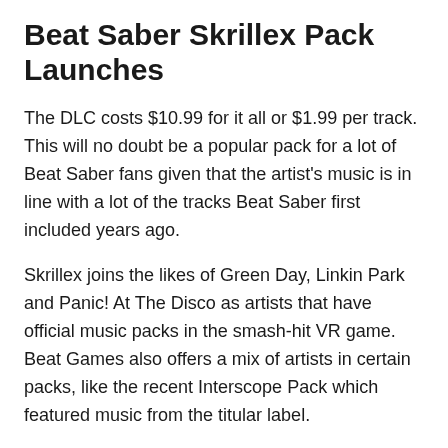Beat Saber Skrillex Pack Launches
The DLC costs $10.99 for it all or $1.99 per track. This will no doubt be a popular pack for a lot of Beat Saber fans given that the artist's music is in line with a lot of the tracks Beat Saber first included years ago.
Skrillex joins the likes of Green Day, Linkin Park and Panic! At The Disco as artists that have official music packs in the smash-hit VR game. Beat Games also offers a mix of artists in certain packs, like the recent Interscope Pack which featured music from the titular label.
There's still no word on possible multiplayer support for PSVR players, which is now close to a